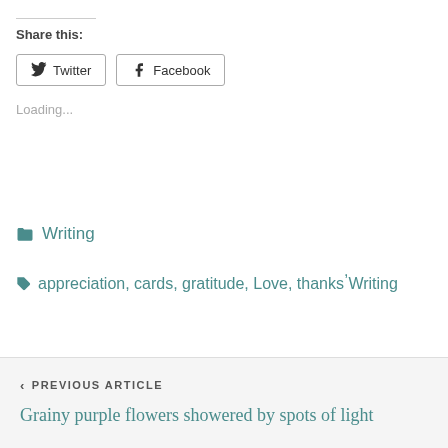Share this:
Twitter  Facebook
Loading...
Writing
appreciation, cards, gratitude, Love, thanks, Writing
< PREVIOUS ARTICLE
Grainy purple flowers showered by spots of light